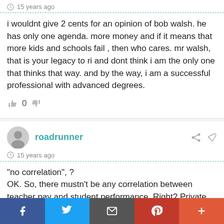15 years ago
i wouldnt give 2 cents for an opinion of bob walsh. he has only one agenda. more money and if it means that more kids and schools fail , then who cares. mr walsh, that is your legacy to ri and dont think i am the only one that thinks that way. and by the way, i am a successful professional with advanced degrees.
0
roadrunner
15 years ago
“no correlation”, ?
OK. So, there mustn't be any correlation between teacher pay and student performance. Right? Private school teachers get far less in overall compensation and private school students